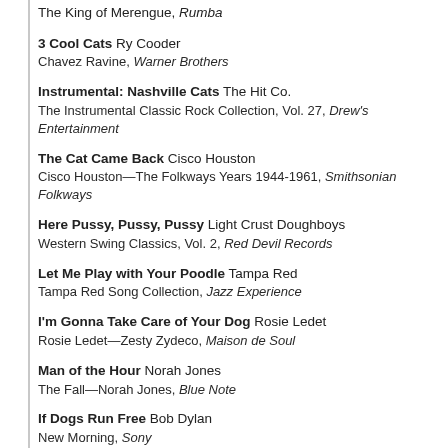The King of Merengue, Rumba
3 Cool Cats Ry Cooder
Chavez Ravine, Warner Brothers
Instrumental: Nashville Cats The Hit Co.
The Instrumental Classic Rock Collection, Vol. 27, Drew's Entertainment
The Cat Came Back Cisco Houston
Cisco Houston—The Folkways Years 1944-1961, Smithsonian Folkways
Here Pussy, Pussy, Pussy Light Crust Doughboys
Western Swing Classics, Vol. 2, Red Devil Records
Let Me Play with Your Poodle Tampa Red
Tampa Red Song Collection, Jazz Experience
I'm Gonna Take Care of Your Dog Rosie Ledet
Rosie Ledet—Zesty Zydeco, Maison de Soul
Man of the Hour Norah Jones
The Fall—Norah Jones, Blue Note
If Dogs Run Free Bob Dylan
New Morning, Sony